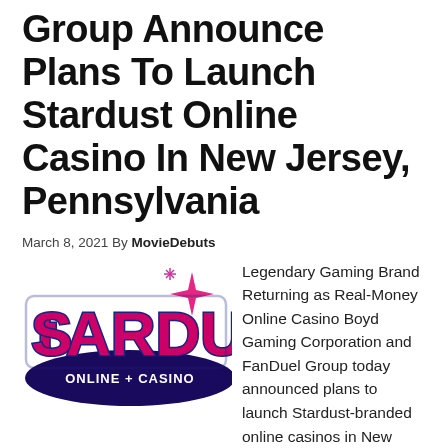Group Announce Plans To Launch Stardust Online Casino In New Jersey, Pennsylvania
March 8, 2021 By MovieDebuts
[Figure (logo): Stardust Online Casino logo with pink star graphic and text 'ONLINE + CASINO' on dark oval]
Legendary Gaming Brand Returning as Real-Money Online Casino Boyd Gaming Corporation and FanDuel Group today announced plans to launch Stardust-branded online casinos in New Jersey and Pennsylvania, marking the iconic gaming brand's return to real-money gaming. FanDuel and Boyd Gaming anticipate launching the Stardust casinos in